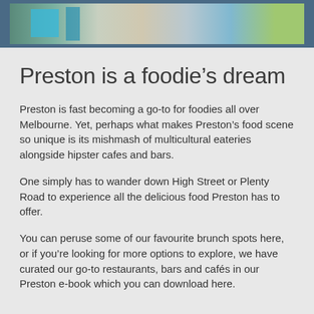[Figure (photo): Partial photo of an outdoor cafe or restaurant area showing turquoise/teal furniture and greenery against a light background, with a steel blue border surrounding it]
Preston is a foodie’s dream
Preston is fast becoming a go-to for foodies all over Melbourne. Yet, perhaps what makes Preston’s food scene so unique is its mishmash of multicultural eateries alongside hipster cafes and bars.
One simply has to wander down High Street or Plenty Road to experience all the delicious food Preston has to offer.
You can peruse some of our favourite brunch spots here, or if you’re looking for more options to explore, we have curated our go-to restaurants, bars and cafés in our Preston e-book which you can download here.